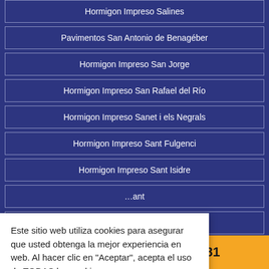Hormigon Impreso Salines
Pavimentos San Antonio de Benagéber
Hormigon Impreso San Jorge
Hormigon Impreso San Rafael del Río
Hormigon Impreso Sanet i els Negrals
Hormigon Impreso Sant Fulgenci
Hormigon Impreso Sant Isidre
…ant
…ró
Este sitio web utiliza cookies para asegurar que usted obtenga la mejor experiencia en web. Al hacer clic en "Aceptar", acepta el uso de TODAS las cookies.
Cookie settings   ACCEPT
¡Llámenos! 666 036 981